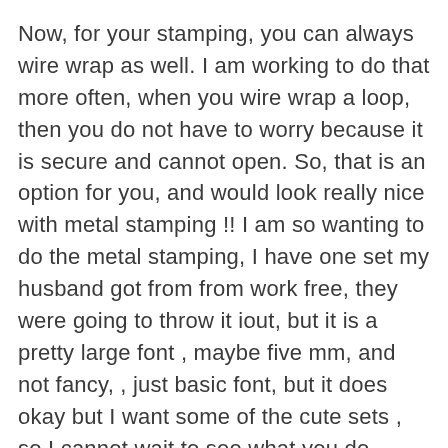Now, for your stamping, you can always wire wrap as well. I am working to do that more often, when you wire wrap a loop, then you do not have to worry because it is secure and cannot open. So, that is an option for you, and would look really nice with metal stamping !! I am so wanting to do the metal stamping, I have one set my husband got from from work free, they were going to throw it iout, but it is a pretty large font , maybe five mm, and not fancy, , just basic font, but it does okay but I want some of the cute sets , so I cannot wait to see what you do, please share your work !!! I have only used it on fimo clay, but metal smithing and stamping is on my wish list and have been for a